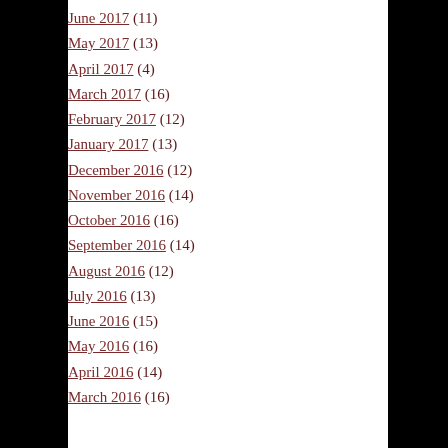June 2017 (11)
May 2017 (13)
April 2017 (4)
March 2017 (16)
February 2017 (12)
January 2017 (13)
December 2016 (12)
November 2016 (14)
October 2016 (16)
September 2016 (14)
August 2016 (12)
July 2016 (13)
June 2016 (15)
May 2016 (16)
April 2016 (14)
March 2016 (16)